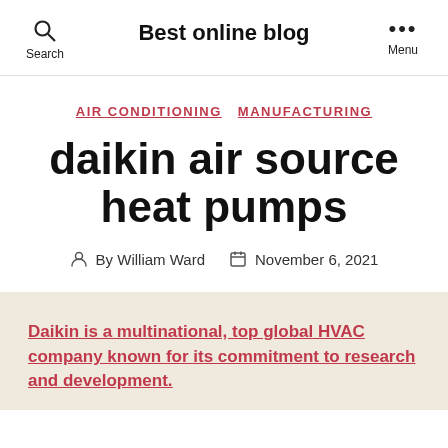Best online blog
AIR CONDITIONING   MANUFACTURING
daikin air source heat pumps
By William Ward   November 6, 2021
Daikin is a multinational, top global HVAC company known for its commitment to research and development.